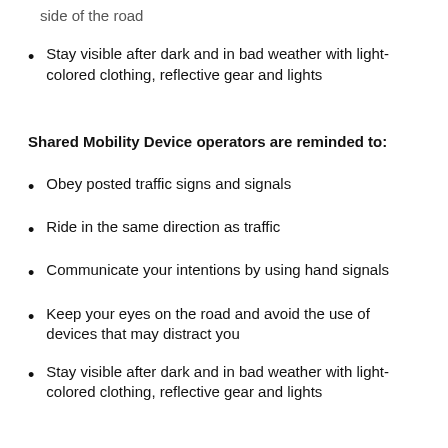side of the road
Stay visible after dark and in bad weather with light-colored clothing, reflective gear and lights
Shared Mobility Device operators are reminded to:
Obey posted traffic signs and signals
Ride in the same direction as traffic
Communicate your intentions by using hand signals
Keep your eyes on the road and avoid the use of devices that may distract you
Stay visible after dark and in bad weather with light-colored clothing, reflective gear and lights